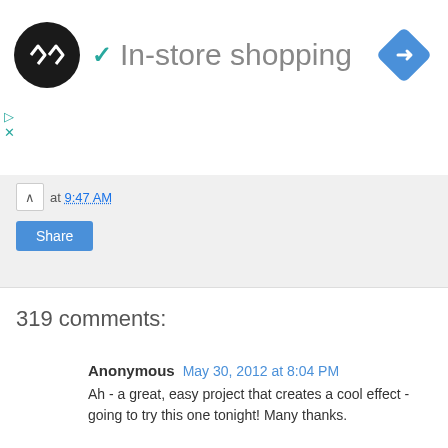[Figure (logo): Black circle logo with white double-arrow/infinity symbol, teal checkmark, page title 'In-store shopping', blue diamond navigation icon]
at 9:47 AM
Share
319 comments:
Anonymous May 30, 2012 at 8:04 PM
Ah - a great, easy project that creates a cool effect - going to try this one tonight! Many thanks.

Cheers,
Clover

Reply
Replies
Unknown October 6, 2020 at 11:20 AM